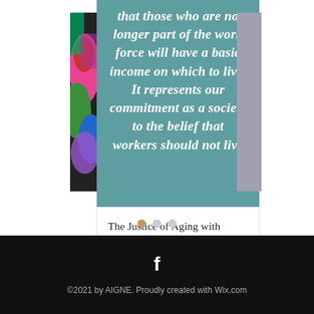[Figure (screenshot): Teal card with italic bold white text: 'that those who are no longer part of the work force will have a basic income on which to live. It represents our commitment as a society to the belief that workers should not live' — partially visible, with colorful image on left and gray strip on right]
The Justice of Aging with Financial Dignity
[Figure (infographic): View count icon with '2', comment icon with '0', and heart/like icon (red) in a row below the title]
[Figure (infographic): Carousel navigation dots: one colored (active) and two gray dots]
©2021 by AIGNE. Proudly created with Wix.com